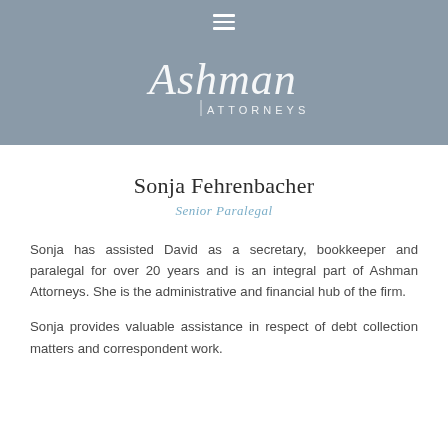[Figure (logo): Ashman Attorneys logo with script wordmark on grey header background, with hamburger menu icon at top]
Sonja Fehrenbacher
Senior Paralegal
Sonja has assisted David as a secretary, bookkeeper and paralegal for over 20 years and is an integral part of Ashman Attorneys. She is the administrative and financial hub of the firm.
Sonja provides valuable assistance in respect of debt collection matters and correspondent work.